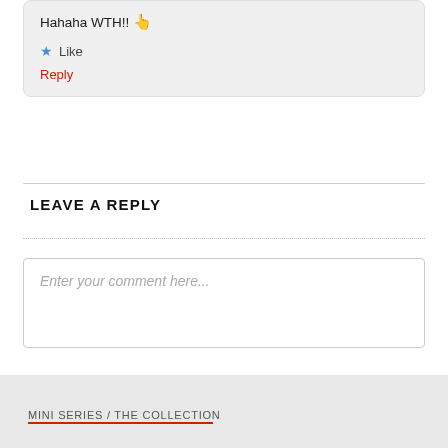Hahaha WTH!! 👆
★ Like
Reply
LEAVE A REPLY
Enter your comment here...
MINI SERIES / THE COLLECTION